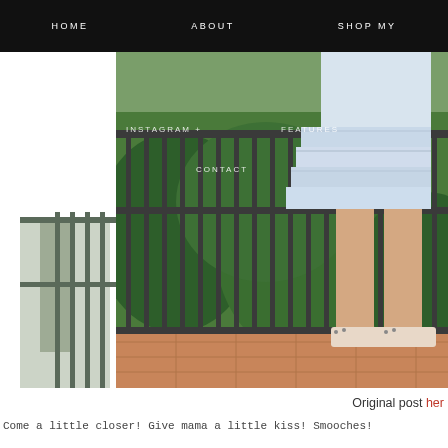HOME   ABOUT   SHOP MY
[Figure (photo): Woman wearing a white tiered lace mini dress and studded stiletto heels standing on a terrace with iron railing and garden behind her. Navigation overlay text: INSTAGRAM + FEATURES and CONTACT.]
Original post here
Come a little closer! Give mama a little kiss! Smooches!